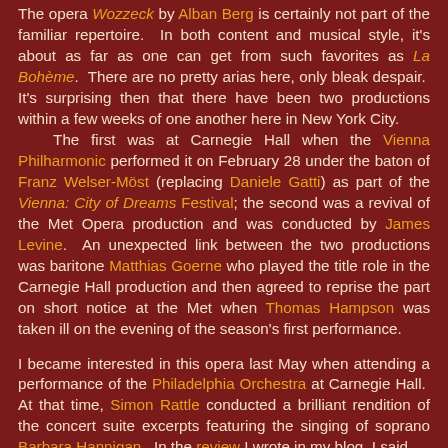The opera Wozzeck by Alban Berg is certainly not part of the familiar repertoire. In both content and musical style, it's about as far as one can get from such favorites as La Bohème. There are no pretty arias here, only bleak despair. It's surprising then that there have been two productions within a few weeks of one another here in New York City. The first was at Carnegie Hall when the Vienna Philharmonic performed it on February 28 under the baton of Franz Welser-Möst (replacing Daniele Gatti) as part of the Vienna: City of Dreams Festival; the second was a revival of the Met Opera production and was conducted by James Levine. An unexpected link between the two productions was baritone Matthias Goerne who played the title role in the Carnegie Hall production and then agreed to reprise the part on short notice at the Met when Thomas Hampson was taken ill on the evening of the season's first performance.
I became interested in this opera last May when attending a performance of the Philadelphia Orchestra at Carnegie Hall. At that time, Simon Rattle conducted a brilliant rendition of the concert suite excerpts featuring the singing of soprano Barbara Hannigan. In the review I wrote in my blog, I said